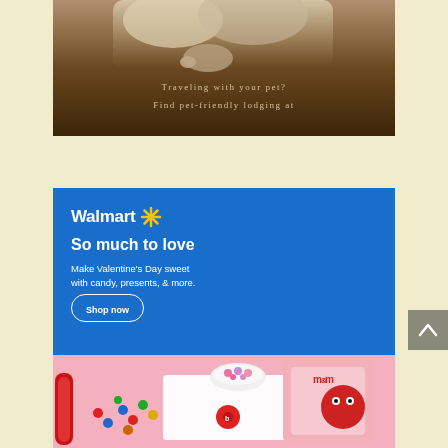[Figure (photo): Top advertisement showing a cat/dog resting on furniture with text about pet-friendly lodging]
Traveling with your pet?
Find pet-friendly lodging at
[Figure (photo): Walmart Valentine's Day advertisement with blue background, Walmart logo, tagline 'So much to love', candy and gifts product photo]
Walmart
So much to love
Make Valentine's Day sweet with candy, presents, & more.
Shop now